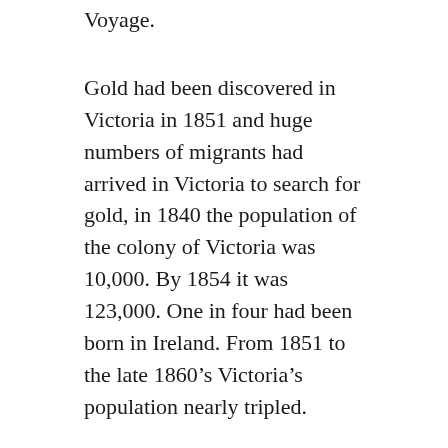Voyage.
Gold had been discovered in Victoria in 1851 and huge numbers of migrants had arrived in Victoria to search for gold, in 1840 the population of the colony of Victoria was 10,000. By 1854 it was 123,000. One in four had been born in Ireland. From 1851 to the late 1860’s Victoria’s population nearly tripled.
Eliza married James Knighton, a coachman, on March 1 in 1864 at Scotts’ Presbyterian Church Melbourne. Knighton Family History has more pictures and information.
Her parents were listed on her marriage certificate as Michael Ledwick, a bricklayer and